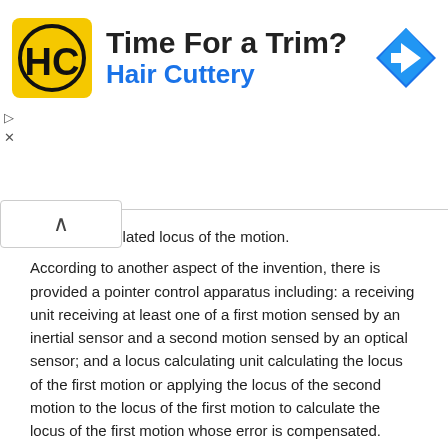[Figure (other): Advertisement banner for Hair Cuttery showing logo with 'HC' monogram, text 'Time For a Trim?' and 'Hair Cuttery', and a blue navigation arrow icon. Includes collapse/close controls.]
…tting the calculated locus of the motion.
According to another aspect of the invention, there is provided a pointer control apparatus including: a receiving unit receiving at least one of a first motion sensed by an inertial sensor and a second motion sensed by an optical sensor; and a locus calculating unit calculating the locus of the first motion or applying the locus of the second motion to the locus of the first motion to calculate the locus of the first motion whose error is compensated.
According to another aspect of the invention, there is provided a method of recognizing a motion performed by an apparatus, the method including: sensing a first motion using at least one of acceleration and angular velocity that are generated by an input motion; sensing a second motion using reflection of light due to the motion; calculating the locus of the motion on the basis of the locus of the first motion and the locus of the second motion; and transmitting the calculated locus of the motion.
According to another aspect of the invention, there is provided a pointer control method including: receiving at least one of a first motion sensed by